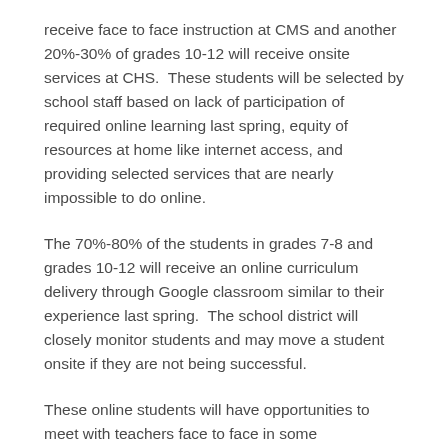receive face to face instruction at CMS and another 20%-30% of grades 10-12 will receive onsite services at CHS.  These students will be selected by school staff based on lack of participation of required online learning last spring, equity of resources at home like internet access, and providing selected services that are nearly impossible to do online.
The 70%-80% of the students in grades 7-8 and grades 10-12 will receive an online curriculum delivery through Google classroom similar to their experience last spring.  The school district will closely monitor students and may move a student onsite if they are not being successful.
These online students will have opportunities to meet with teachers face to face in some circumstances. No...